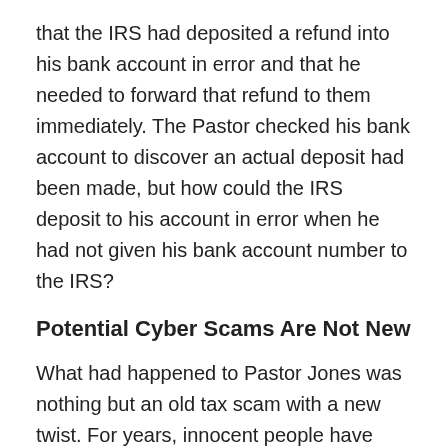that the IRS had deposited a refund into his bank account in error and that he needed to forward that refund to them immediately. The Pastor checked his bank account to discover an actual deposit had been made, but how could the IRS deposit to his account in error when he had not given his bank account number to the IRS?
Potential Cyber Scams Are Not New
What had happened to Pastor Jones was nothing but an old tax scam with a new twist. For years, innocent people have received calls from someone claiming to be from the Internal Revenue Service (IRS). Some of these calls have then stated that individuals with...